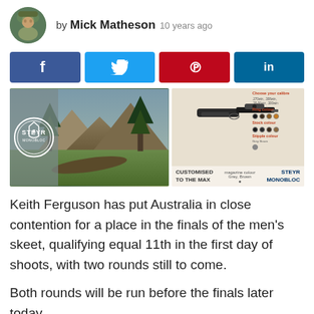by Mick Matheson 10 years ago
[Figure (infographic): Social media share buttons: Facebook (dark blue), Twitter (light blue), Pinterest (red), LinkedIn (dark blue)]
[Figure (photo): Left: Steyr Monobloc logo overlaid on a mountain landscape with trees. Right: Product configurator showing a rifle with colour options panel, captioned CUSTOMISED TO THE MAX and STEYR MONOBLOC]
Keith Ferguson has put Australia in close contention for a place in the finals of the men's skeet, qualifying equal 11th in the first day of shoots, with two rounds still to come.
Both rounds will be run before the finals later today,